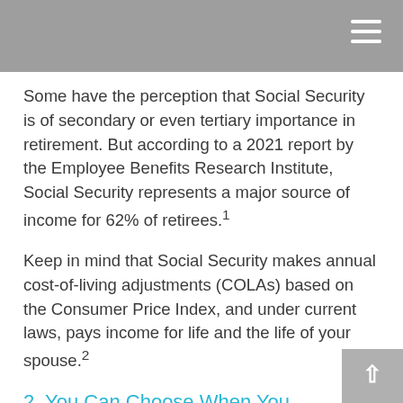Some have the perception that Social Security is of secondary or even tertiary importance in retirement. But according to a 2021 report by the Employee Benefits Research Institute, Social Security represents a major source of income for 62% of retirees.¹
Keep in mind that Social Security makes annual cost-of-living adjustments (COLAs) based on the Consumer Price Index, and under current laws, pays income for life and the life of your spouse.²
2. You Can Choose When You Take Social Security